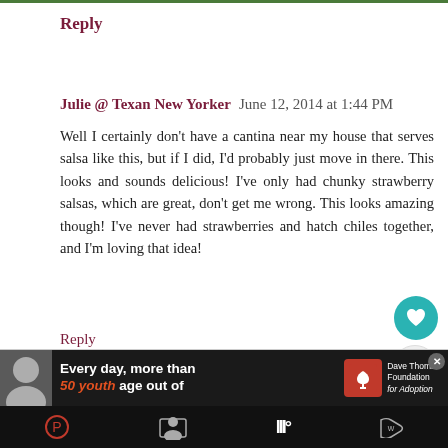Reply
Julie @ Texan New Yorker  June 12, 2014 at 1:44 PM
Well I certainly don't have a cantina near my house that serves salsa like this, but if I did, I'd probably just move in there. This looks and sounds delicious! I've only had chunky strawberry salsas, which are great, don't get me wrong. This looks amazing though! I've never had strawberries and hatch chiles together, and I'm loving that idea!
Reply
▾  Replies
Kirsten  June 16, 2014 at 4:31 AM
Julie,
I don't think you'd want to move into a cantina. I mean, when I worked in restaurants the grease just
[Figure (infographic): Advertisement banner: Dave Thomas Foundation for Adoption. Text: Every day, more than 50 youth age out of]